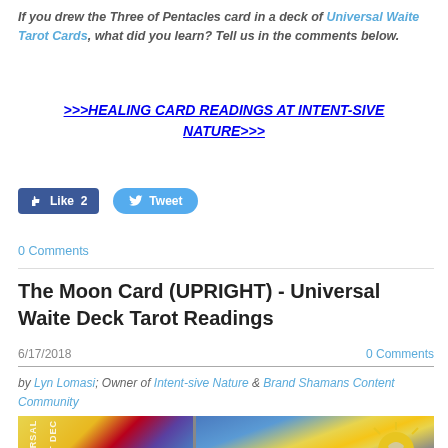If you drew the Three of Pentacles card in a deck of Universal Waite Tarot Cards, what did you learn? Tell us in the comments below.
>>>HEALING CARD READINGS AT INTENT-SIVE NATURE>>>
[Figure (screenshot): Facebook Like button showing count of 2 and Twitter Tweet button]
0 Comments
The Moon Card (UPRIGHT) - Universal Waite Deck Tarot Readings
6/17/2018   0 Comments
by Lyn Lomasi; Owner of Intent-sive Nature & Brand Shamans Content Community
[Figure (photo): Photo of Universal Waite Tarot card deck box and a tarot card showing the Moon card with a sun image]